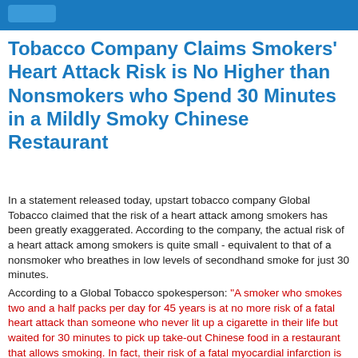Tobacco Company Claims Smokers' Heart Attack Risk is No Higher than Nonsmokers who Spend 30 Minutes in a Mildly Smoky Chinese Restaurant
In a statement released today, upstart tobacco company Global Tobacco claimed that the risk of a heart attack among smokers has been greatly exaggerated. According to the company, the actual risk of a heart attack among smokers is quite small - equivalent to that of a nonsmoker who breathes in low levels of secondhand smoke for just 30 minutes.
According to a Global Tobacco spokesperson: "A smoker who smokes two and a half packs per day for 45 years is at no more risk of a fatal heart attack than someone who never lit up a cigarette in their life but waited for 30 minutes to pick up take-out Chinese food in a restaurant that allows smoking. In fact, their risk of a fatal myocardial infarction is